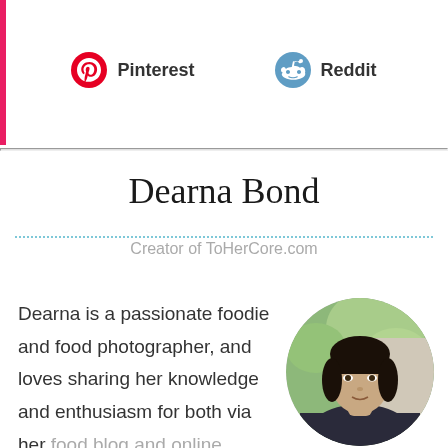[Figure (logo): Pinterest logo icon (red circle with P)]
Pinterest
[Figure (logo): Reddit alien logo icon (blue circle)]
Reddit
Dearna Bond
Creator of ToHerCore.com
Dearna is a passionate foodie and food photographer, and loves sharing her knowledge and enthusiasm for both via her food blog and online photography courses.
[Figure (photo): Circular profile photo of a woman with dark bangs, wearing a dark top, against a green blurred background]